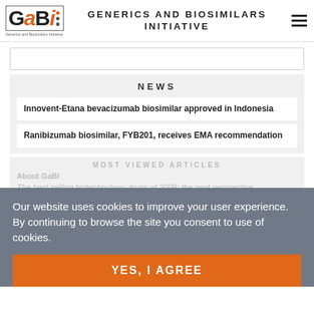GENERICS AND BIOSIMILARS INITIATIVE
NEWS
Innovent-Etana bevacizumab biosimilar approved in Indonesia
Ranibizumab biosimilar, FYB201, receives EMA recommendation
MOST VIEWED ARTICLES
About GaBI
The best selling biotechnology drugs of 2008: the next perspective
Our website uses cookies to improve your user experience. By continuing to browse the site you consent to use of cookies.
YES, I AGREE